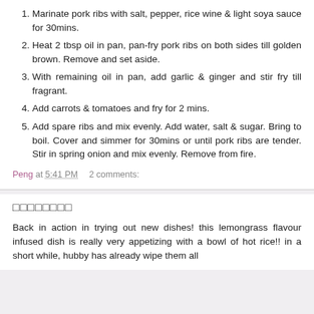Marinate pork ribs with salt, pepper, rice wine & light soya sauce for 30mins.
Heat 2 tbsp oil in pan, pan-fry pork ribs on both sides till golden brown. Remove and set aside.
With remaining oil in pan, add garlic & ginger and stir fry till fragrant.
Add carrots & tomatoes and fry for 2 mins.
Add spare ribs and mix evenly. Add water, salt & sugar. Bring to boil. Cover and simmer for 30mins or until pork ribs are tender. Stir in spring onion and mix evenly. Remove from fire.
Peng at 5:41 PM   2 comments:
□□□□□□□□
Back in action in trying out new dishes! this lemongrass flavour infused dish is really very appetizing with a bowl of hot rice!! in a short while, hubby has already wipe them all